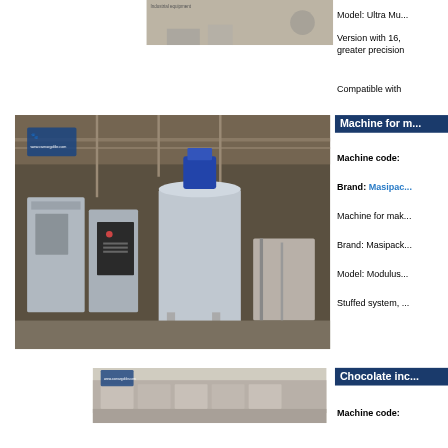[Figure (photo): Top partial photo of industrial equipment on factory floor, cropped at top]
Model: Ultra Mu...
Version with 16, greater precision
Compatible with
Machine for m...
[Figure (photo): Industrial mixing/processing machines in a factory, multiple stainless steel tanks with blue motor on top, control panels, piping. Website watermark: www.camargolibr.com]
Machine code:
Brand: Masipac...
Machine for mak...
Brand: Masipack...
Model: Modulus...
Stuffed system, ...
Chocolate inc...
[Figure (photo): Bottom partial photo of chocolate or candy industrial equipment, conveyor or moulding line, website watermark visible]
Machine code: